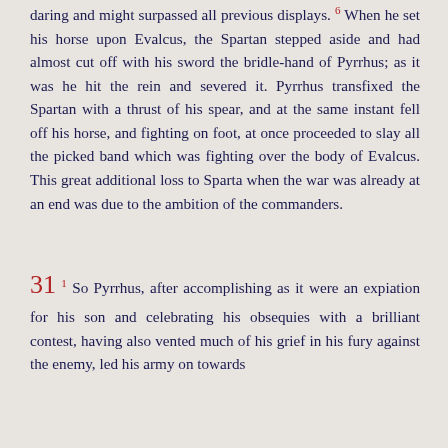daring and might surpassed all previous displays. 6 When he set his horse upon Evalcus, the Spartan stepped aside and had almost cut off with his sword the bridle-hand of Pyrrhus; as it was he hit the rein and severed it. Pyrrhus transfixed the Spartan with a thrust of his spear, and at the same instant fell off his horse, and fighting on foot, at once proceeded to slay all the picked band which was fighting over the body of Evalcus. This great additional loss to Sparta when the war was already at an end was due to the ambition of the commanders.
31 1 So Pyrrhus, after accomplishing as it were an expiation for his son and celebrating his obsequies with a brilliant contest, having also vented much of his grief in his fury against the enemy, led his army on towards